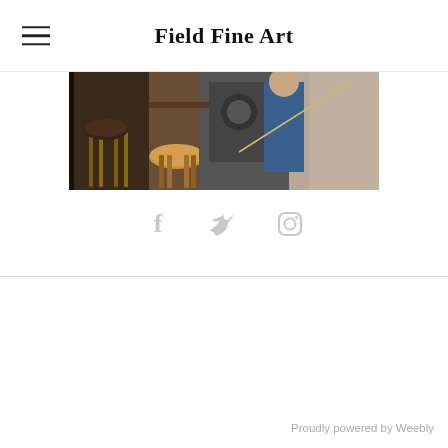Field Fine Art
[Figure (photo): Interior workshop or studio scene showing wooden stools in the foreground, machinery or equipment in the background, and a person visible in blue clothing]
[Figure (infographic): Social media icons: Facebook (f), Twitter (bird), Instagram (camera) in light gray]
Proudly powered by Weebly